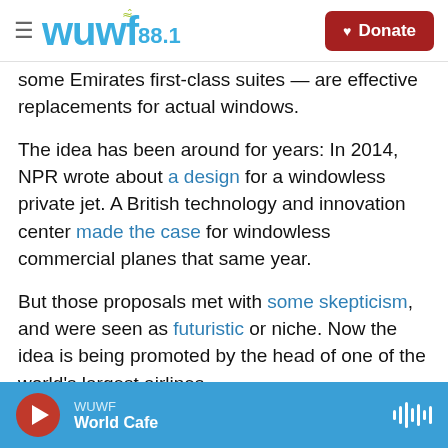wuwf 88.1 | Donate
some Emirates first-class suites — are effective replacements for actual windows.
The idea has been around for years: In 2014, NPR wrote about a design for a windowless private jet. A British technology and innovation center made the case for windowless commercial planes that same year.
But those proposals met with some skepticism, and were seen as futuristic or niche. Now the idea is being promoted by the head of one of the world's largest airlines.
WUWF | World Cafe